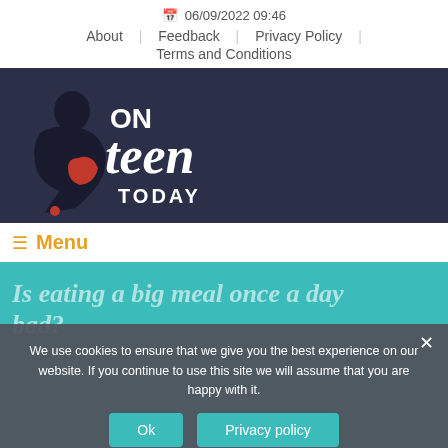06/09/2022 09:46 | About | Feedback | Privacy Policy | Terms and Conditions
[Figure (logo): On Teen Today website logo — silhouette of a teen sitting reading/using phone, with red accent, text ON teen TODAY on dark navy background]
≡ Menu
Is eating a big meal once a day bad?
We use cookies to ensure that we give you the best experience on our website. If you continue to use this site we will assume that you are happy with it.
Ok | Privacy policy